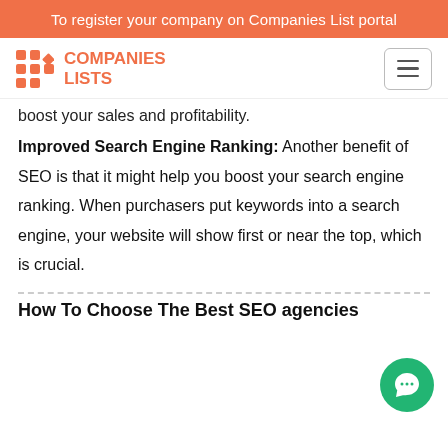To register your company on Companies List portal
[Figure (logo): Companies Lists logo with orange grid icon and orange text reading COMPANIES LISTS]
boost your sales and profitability.
Improved Search Engine Ranking: Another benefit of SEO is that it might help you boost your search engine ranking. When purchasers put keywords into a search engine, your website will show first or near the top, which is crucial.
How To Choose The Best SEO agencies